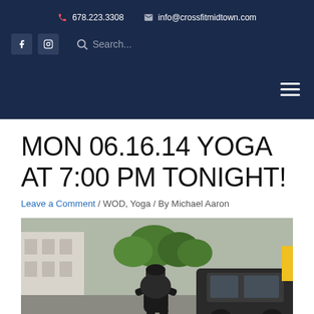678.223.3308 | info@crossfitmidtown.com
MON 06.16.14 YOGA AT 7:00 PM TONIGHT!
Leave a Comment / WOD, Yoga / By Michael Aaron
[Figure (photo): Person carrying a large sandbag or medicine ball outdoors in a parking area, with a black SUV and green trees in the background.]